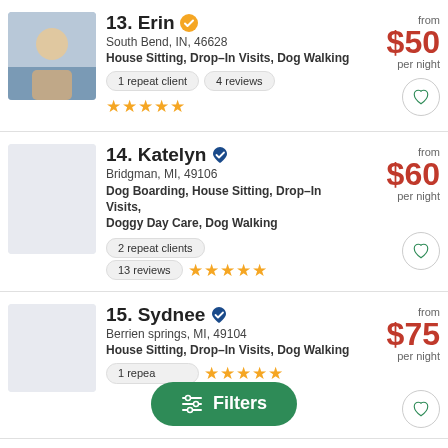13. Erin — South Bend, IN, 46628 — House Sitting, Drop-In Visits, Dog Walking — 1 repeat client — 4 reviews — 5 stars — from $50 per night
14. Katelyn — Bridgman, MI, 49106 — Dog Boarding, House Sitting, Drop-In Visits, Doggy Day Care, Dog Walking — 2 repeat clients — 13 reviews — 5 stars — from $60 per night
15. Sydnee — Berrien springs, MI, 49104 — House Sitting, Drop-In Visits, Dog Walking — 1 repeat — 5 stars — from $75 per night